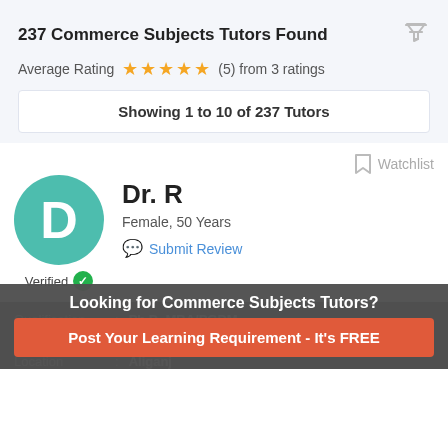237 Commerce Subjects Tutors Found
Average Rating ★★★★★ (5) from 3 ratings
Showing 1 to 10 of 237 Tutors
Watchlist
Dr. R
Female, 50 Years
Submit Review
Verified
Qualification : Ph.D, MBA/PGDM
Experience :
Location : Aliganj
Looking for Commerce Subjects Tutors?
Post Your Learning Requirement - It's FREE